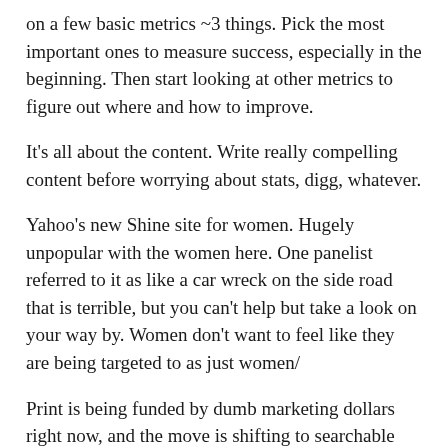on a few basic metrics ~3 things. Pick the most important ones to measure success, especially in the beginning. Then start looking at other metrics to figure out where and how to improve.
It's all about the content. Write really compelling content before worrying about stats, digg, whatever.
Yahoo's new Shine site for women. Hugely unpopular with the women here. One panelist referred to it as like a car wreck on the side road that is terrible, but you can't help but take a look on your way by. Women don't want to feel like they are being targeted to as just women/
Print is being funded by dumb marketing dollars right now, and the move is shifting to searchable content online. Make it easy for people to find the information they are need quickly. Trend is also moving toward video. This doesn't mean that you want to have everything as video. You want to have video as